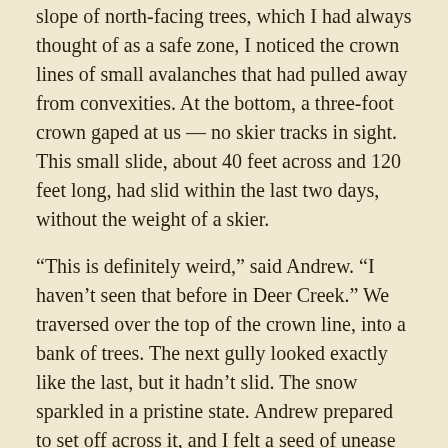slope of north-facing trees, which I had always thought of as a safe zone, I noticed the crown lines of small avalanches that had pulled away from convexities. At the bottom, a three-foot crown gaped at us — no skier tracks in sight. This small slide, about 40 feet across and 120 feet long, had slid within the last two days, without the weight of a skier.
“This is definitely weird,” said Andrew. “I haven’t seen that before in Deer Creek.” We traversed over the top of the crown line, into a bank of trees. The next gully looked exactly like the last, but it hadn’t slid. The snow sparkled in a pristine state. Andrew prepared to set off across it, and I felt a seed of unease sprout within me.
That evening, I pondered the survey questions. Did we accurately convey our observations to each other? Did we share observations freely? I thought about how, even as I realized that Andrew was approaching a potentially sketchy slope, I didn’t say anything. Andrew has skied a lot more